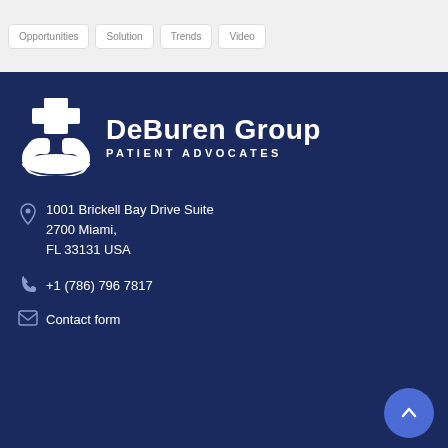Opportunities | Solution | Trends | Video
[Figure (logo): DeBuren Group Patient Advocates logo with medical cross held by two hands icon in white on dark navy blue background]
1001 Brickell Bay Drive Suite 2700 Miami, FL 33131 USA
+1 (786) 796 7817
Contact form